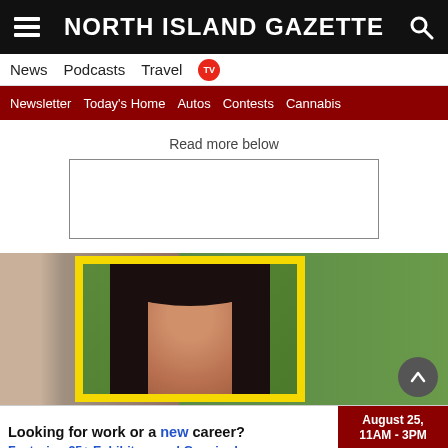NORTH ISLAND GAZETTE
News   Podcasts   Travel   TV
Newsletter   Today's Home   Autos   Contests   Cannabis
Read more below
[Figure (photo): Empty ad placeholder box with border]
[Figure (photo): Photo of a young woman with long dark hair, displayed in a yellow-framed image on a desk stand, green backdrop visible]
[Figure (infographic): Advertisement banner: 'Looking for work or a new career? August 25, 11AM-3PM. Featuring 25+ Exhibitors and Growing! CLICK HERE']